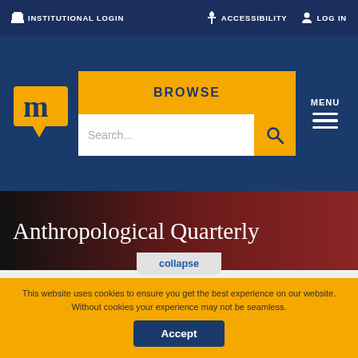INSTITUTIONAL LOGIN   ACCESSIBILITY   LOG IN
[Figure (logo): Muse logo: stylized letter m in a speech bubble shape, gold color on dark blue background]
BROWSE
Search...
MENU
Anthropological Quarterly
collapse
You are not currently authenticated. If you would like to authenticate using a different subscribed institution or
This website uses cookies to ensure you get the best experience on our website. Without cookies your experience may not be seamless.
Accept